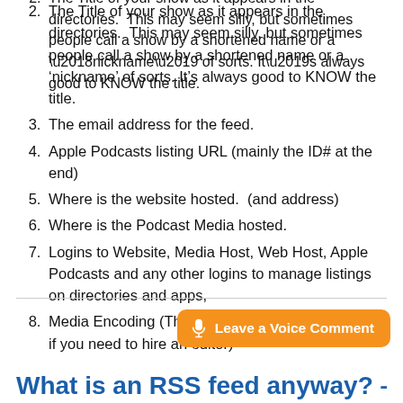RSS feed address. The WHOLE address.
The Title of your show as it appears in the directories.  This may seem silly, but sometimes people call a show by a shortened name or a ‘nickname’ of sorts. It’s always good to KNOW the title.
The email address for the feed.
Apple Podcasts listing URL (mainly the ID# at the end)
Where is the website hosted.  (and address)
Where is the Podcast Media hosted.
Logins to Website, Media Host, Web Host, Apple Podcasts and any other logins to manage listings on directories and apps,
Media Encoding (This is a little geeky but it will help if you need to hire an editor)
[Figure (other): Orange rounded button with microphone icon labeled 'Leave a Voice Comment']
What is an RSS feed anyway? –